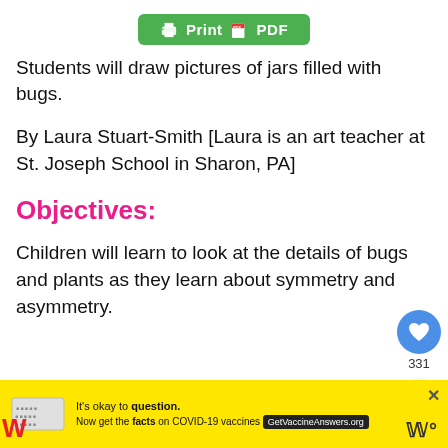[Figure (other): Green Print PDF button with printer and document icons]
Students will draw pictures of jars filled with bugs.
By Laura Stuart-Smith [Laura is an art teacher at St. Joseph School in Sharon, PA]
Objectives:
Children will learn to look at the details of bugs and plants as they learn about symmetry and asymmetry.
[Figure (other): Advertisement banner with yellow background: It's okay to question. Now get the facts on COVID-19 vaccines. GetVaccineAnswers.org]